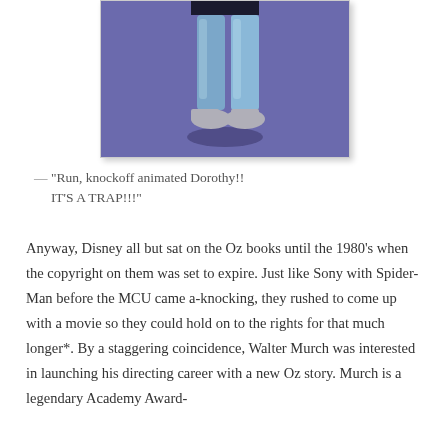[Figure (illustration): Partial view of an animated character resembling Dorothy (from Wizard of Oz), showing only the lower body/legs in blue stockings and grey shoes, against a purple/periwinkle background.]
— "Run, knockoff animated Dorothy!! IT'S A TRAP!!!"
Anyway, Disney all but sat on the Oz books until the 1980's when the copyright on them was set to expire. Just like Sony with Spider-Man before the MCU came a-knocking, they rushed to come up with a movie so they could hold on to the rights for that much longer*. By a staggering coincidence, Walter Murch was interested in launching his directing career with a new Oz story. Murch is a legendary Academy Award-